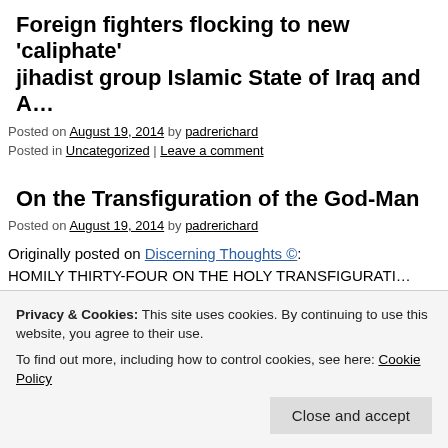Foreign fighters flocking to new 'caliphate' jihadist group Islamic State of Iraq and A…
Posted on August 19, 2014 by padrerichard
Posted in Uncategorized | Leave a comment
On the Transfiguration of the God-Man
Posted on August 19, 2014 by padrerichard
Originally posted on Discerning Thoughts ©:
HOMILY THIRTY-FOUR ON THE HOLY TRANSFIGURATI…
AND SAVIOR JESUS CHRIST by St. Gregory Palamas IN WH…
THAT THE LIGHT OF THE TRANSFIGURATION IS UNCRI…
Privacy & Cookies: This site uses cookies. By continuing to use this website, you agree to their use.
To find out more, including how to control cookies, see here: Cookie Policy